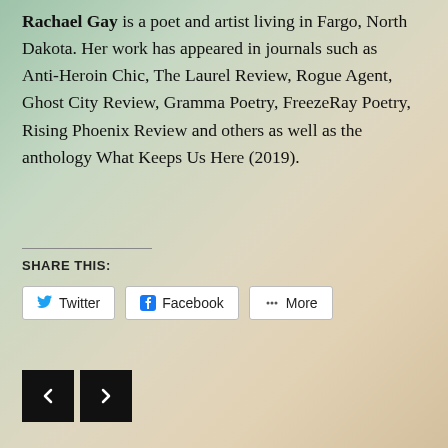Rachael Gay is a poet and artist living in Fargo, North Dakota. Her work has appeared in journals such as Anti-Heroin Chic, The Laurel Review, Rogue Agent, Ghost City Review, Gramma Poetry, FreezeRay Poetry, Rising Phoenix Review and others as well as the anthology What Keeps Us Here (2019).
SHARE THIS:
[Figure (other): Social sharing buttons: Twitter, Facebook, More]
[Figure (other): Navigation buttons: left arrow, right arrow]